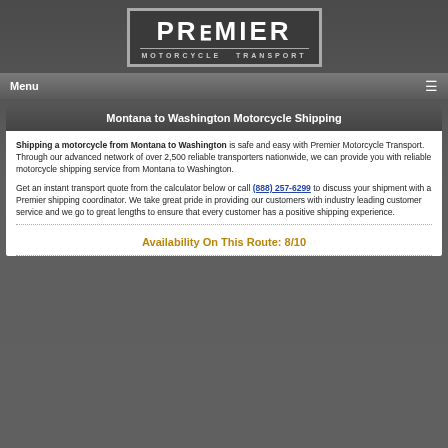[Figure (logo): Premier Motorcycle Transport logo — white text on dark gray background with border]
Menu
Montana to Washington Motorcycle Shipping
Shipping a motorcycle from Montana to Washington is safe and easy with Premier Motorcycle Transport. Through our advanced network of over 2,500 reliable transporters nationwide, we can provide you with reliable motorcycle shipping service from Montana to Washington.
Get an instant transport quote from the calculator below or call (888) 257-6299 to discuss your shipment with a Premier shipping coordinator. We take great pride in providing our customers with industry leading customer service and we go to great lengths to ensure that every customer has a positive shipping experience.
Availability On This Route: 8/10